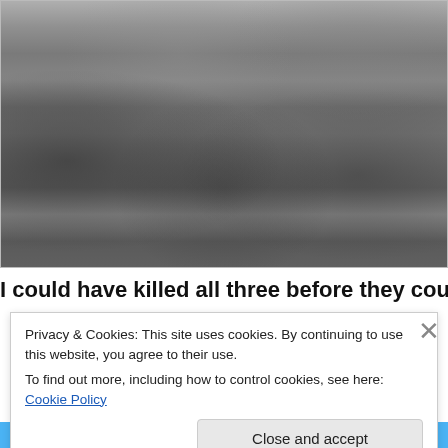[Figure (photo): Black and white photograph showing soldiers in military gear on grassy terrain. One figure in the foreground wears civilian clothes with head wrapped. Two soldiers in the middle and right are prone on the grass. Several more soldiers stand in the background, some carrying rifles.]
I could have killed all three before they could say their Hail
Privacy & Cookies: This site uses cookies. By continuing to use this website, you agree to their use.
To find out more, including how to control cookies, see here: Cookie Policy
Close and accept